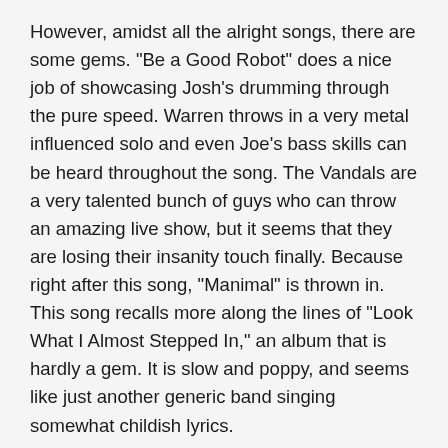However, amidst all the alright songs, there are some gems. "Be a Good Robot" does a nice job of showcasing Josh's drumming through the pure speed. Warren throws in a very metal influenced solo and even Joe's bass skills can be heard throughout the song. The Vandals are a very talented bunch of guys who can throw an amazing live show, but it seems that they are losing their insanity touch finally. Because right after this song, "Manimal" is thrown in. This song recalls more along the lines of "Look What I Almost Stepped In," an album that is hardly a gem. It is slow and poppy, and seems like just another generic band singing somewhat childish lyrics.
This is what "Hollywood Potato Chip" boils down to. Songs like "Dig a Hole" and "How They Getcha" are up there with the better Vandals songs. Others don't seem to rise above the generic dribble that the band seems to have enjoyed putting out lately. Once again, like "Internet Dating Superstuds" they open strong but eventually